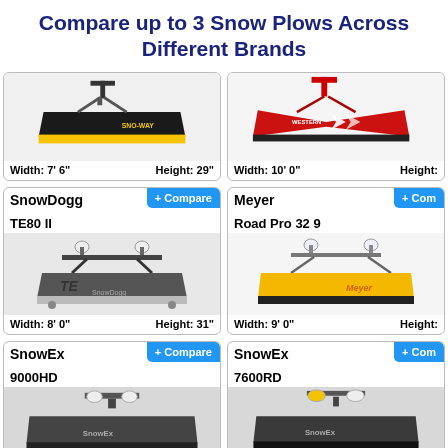Compare up to 3 Snow Plows Across Different Brands
[Figure (photo): Sno-Way black snow plow with yellow cutting edge]
Width: 7' 6"   Height: 29"
[Figure (photo): Western red V-plow snow plow]
Width: 10' 0"   Height:
SnowDogg
+ Compare
TE80 II
[Figure (photo): SnowDogg TE series gray/silver snow plow]
Width: 8' 0"   Height: 31"
Meyer
+ Com
Road Pro 32 9
[Figure (photo): Meyer yellow snow plow Road Pro]
Width: 9' 0"   Height:
SnowEx
+ Compare
9000HD
[Figure (photo): SnowEx 9000HD dark gray snow plow]
SnowEx
+ Com
7600RD
[Figure (photo): SnowEx 7600RD dark plow with amber lights]